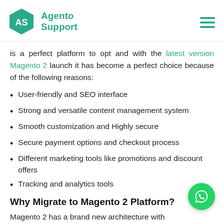Agento Support
is a perfect platform to opt and with the latest version Magento 2 launch it has become a perfect choice because of the following reasons:
User-friendly and SEO interface
Strong and versatile content management system
Smooth customization and Highly secure
Secure payment options and checkout process
Different marketing tools like promotions and discount offers
Tracking and analytics tools
Why Migrate to Magento 2 Platform?
Magento 2 has a brand new architecture with